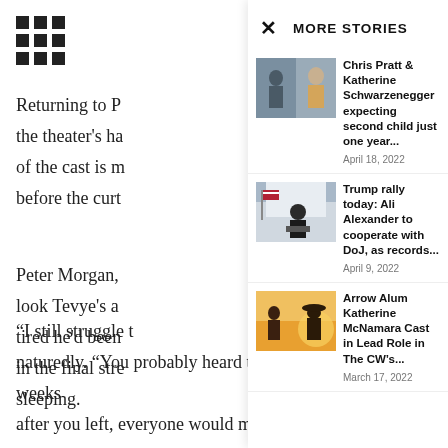[Figure (other): 3x3 grid/menu icon in top-left corner]
Returning to P... the theater's ha... of the cast is m... before the curt...
Peter Morgan, look Tevye's a... tired he'd been... in the final stre... sleeping.
× MORE STORIES
[Figure (photo): Chris Pratt and Katherine Schwarzenegger photo collage]
Chris Pratt & Katherine Schwarzenegger expecting second child just one year...
April 18, 2022
[Figure (photo): Trump at rally with American flag in background]
Trump rally today: Ali Alexander to cooperate with DoJ, as records...
April 9, 2022
[Figure (photo): Arrow Alum Katherine McNamara in western setting]
Arrow Alum Katherine McNamara Cast in Lead Role in The CW's...
March 17, 2022
“I still struggle t... naturedly. “You probably heard that already. For a few weeks after you left, everyone would make fun of me about it.”